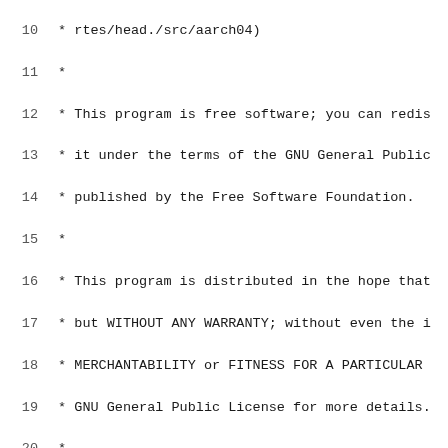Source code listing, lines 10-31, showing GPL license header and include directives for a Linux kernel assembly file (aarch64).
10:  * rtes/head./src/aarch04)
11:  *
12:  * This program is free software; you can redis
13:  * it under the terms of the GNU General Public
14:  * published by the Free Software Foundation.
15:  *
16:  * This program is distributed in the hope that
17:  * but WITHOUT ANY WARRANTY; without even the i
18:  * MERCHANTABILITY or FITNESS FOR A PARTICULAR
19:  * GNU General Public License for more details.
20:  *
21:  * You should have received a copy of the GNU G
22:  * along with this program.  If not, see <http:
23:  */
24:
25:  #include <linux/linkage.h>
26:  #include <asm/assembler.h>
27:
28:  /*
29:  * compare memory areas(when two memory areas' o
30:  * alignment handled by the hardware)
31:  *